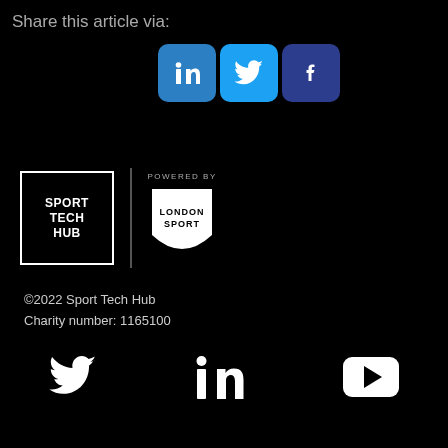Share this article via:
[Figure (other): Social share buttons: LinkedIn (blue), Twitter (light blue), Facebook (dark blue)]
[Figure (logo): Sport Tech Hub logo (white outlined square) and London Sport logo (shield shape) with 'POWERED BY' text above]
©2022 Sport Tech Hub
Charity number: 1165100
[Figure (other): Social media icons at bottom: Twitter bird, LinkedIn 'in', YouTube play button]